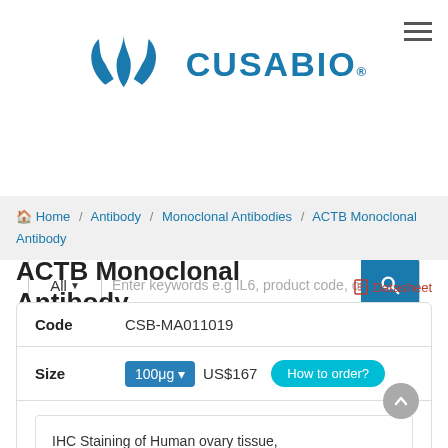[Figure (logo): Cusabio logo with stylized blue wing/flame symbol and CUSABIO text]
All  Enter keywords e.g IL6, product code, or un [search button]
Home / Antibody / Monoclonal Antibodies / ACTB Monoclonal Antibody
ACTB Monoclonal Antibody
Datasheet
| Field | Value |
| --- | --- |
| Code | CSB-MA011019 |
| Size | 100μg  US$167  How to order? |
|  | IHC Staining of Human ovary tissue, diluted at 1:200 |